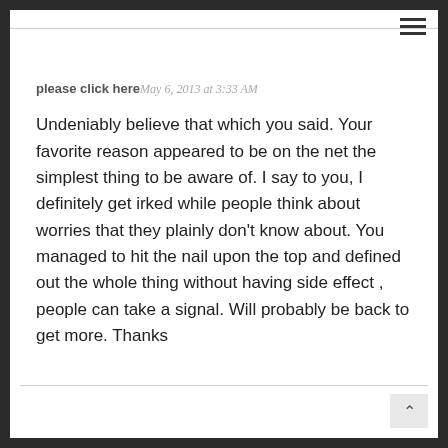please click here  May 6, 2013 at 3:33 AM
Undeniably believe that which you said. Your favorite reason appeared to be on the net the simplest thing to be aware of. I say to you, I definitely get irked while people think about worries that they plainly don't know about. You managed to hit the nail upon the top and defined out the whole thing without having side effect , people can take a signal. Will probably be back to get more. Thanks